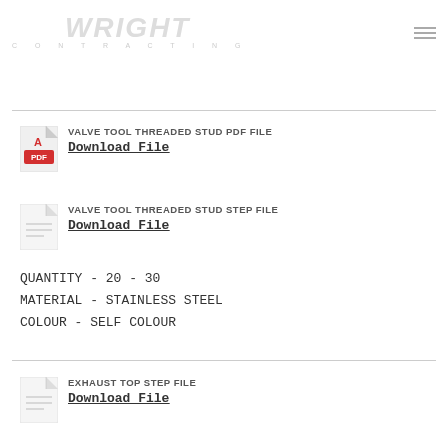WRIGHT (logo) | hamburger menu
VALVE TOOL THREADED STUD PDF FILE
Download File
VALVE TOOL THREADED STUD STEP FILE
Download File
QUANTITY - 20 - 30
MATERIAL - STAINLESS STEEL
COLOUR - SELF COLOUR
EXHAUST TOP STEP FILE
Download File